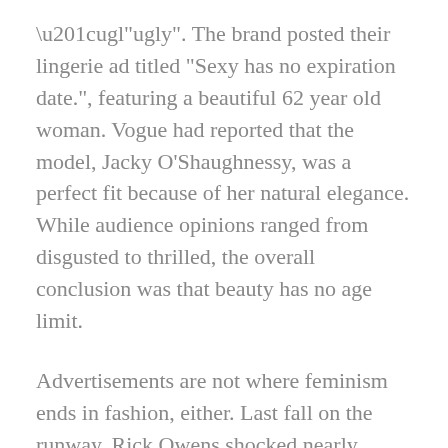“ugly”. The brand posted their lingerie ad titled “Sexy has no expiration date.”, featuring a beautiful 62 year old woman. Vogue had reported that the model, Jacky O’Shaughnessy, was a perfect fit because of her natural elegance. While audience opinions ranged from disgusted to thrilled, the overall conclusion was that beauty has no age limit.
Advertisements are not where feminism ends in fashion, either. Last fall on the runway, Rick Owens shocked nearly everyone at Paris Fashion Week. He had 40 black, muscular women come stomping and dancing onto the runway in basketball style outfits. This was a huge change from the stereotypical white woman, floating down the catwalk in a delicate chiffon gown. Owens’ statement showed the world that there are many more desirable forms of femininity than that. She became a fashion icon.